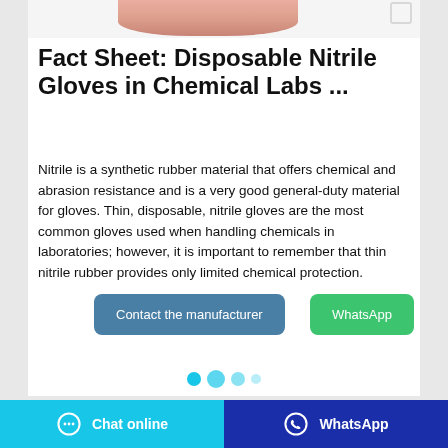[Figure (photo): Partial image of a hand/glove at the top of the card, cropped]
Fact Sheet: Disposable Nitrile Gloves in Chemical Labs ...
Nitrile is a synthetic rubber material that offers chemical and abrasion resistance and is a very good general-duty material for gloves. Thin, disposable, nitrile gloves are the most common gloves used when handling chemicals in laboratories; however, it is important to remember that thin nitrile rubber provides only limited chemical protection.
[Figure (screenshot): Contact the manufacturer button (blue/slate) and WhatsApp button (green) with a cyan circular chat icon button]
[Figure (screenshot): Bottom navigation bar with Chat online (cyan) on left and WhatsApp (dark blue) on right]